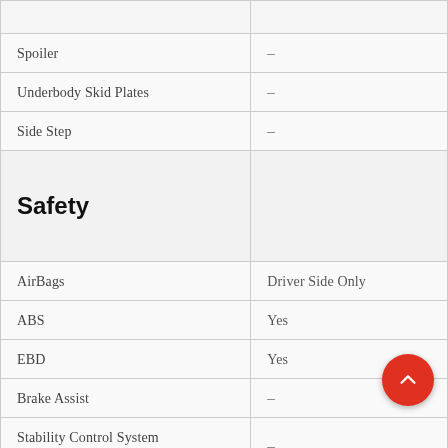| Feature | Value |
| --- | --- |
| Spoiler | – |
| Underbody Skid Plates | – |
| Side Step | – |
| Safety |  |
| AirBags | Driver Side Only |
| ABS | Yes |
| EBD | Yes |
| Brake Assist | – |
| Stability Control System (ESC/ESS) | – |